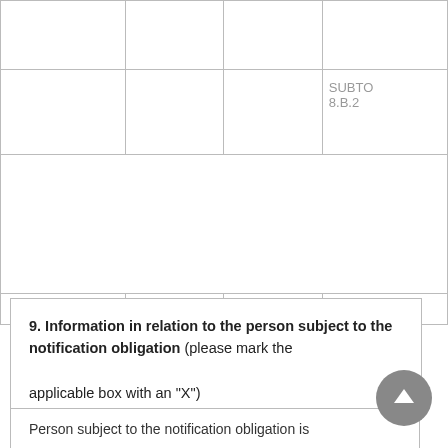|  |  |  | SUBTOTAL 8.B.2 |
| --- | --- | --- | --- |
|  |  |  |  |
|  |  |  | SUBTOTAL
8.B.2 |
|  |  |  |  |
|  |  |  |  |
9. Information in relation to the person subject to the notification obligation (please mark the applicable box with an "X")
Person subject to the notification obligation is